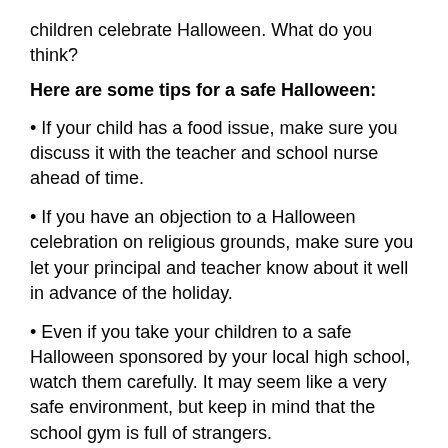children celebrate Halloween. What do you think?
Here are some tips for a safe Halloween:
• If your child has a food issue, make sure you discuss it with the teacher and school nurse ahead of time.
• If you have an objection to a Halloween celebration on religious grounds, make sure you let your principal and teacher know about it well in advance of the holiday.
• Even if you take your children to a safe Halloween sponsored by your local high school, watch them carefully. It may seem like a very safe environment, but keep in mind that the school gym is full of strangers.
• It's best to accompany your children if you allow them to trick or treat, including for UNICEF. And of course, discard